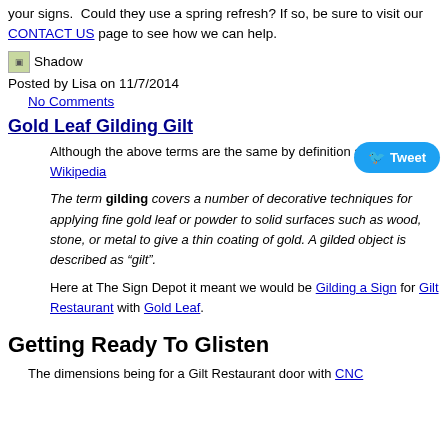your signs.  Could they use a spring refresh? If so, be sure to visit our CONTACT US page to see how we can help.
[Figure (illustration): Small shadow/thumbnail image icon labeled 'Shadow']
Posted by Lisa on 11/7/2014
No Comments
Gold Leaf Gilding Gilt
Although the above terms are the same by definition according to Wikipedia
[Figure (other): Twitter Tweet button]
The term gilding covers a number of decorative techniques for applying fine gold leaf or powder to solid surfaces such as wood, stone, or metal to give a thin coating of gold. A gilded object is described as “gilt”.
Here at The Sign Depot it meant we would be Gilding a Sign for Gilt Restaurant with Gold Leaf.
Getting Ready To Glisten
The dimensions being for a Gilt Restaurant door with CNC